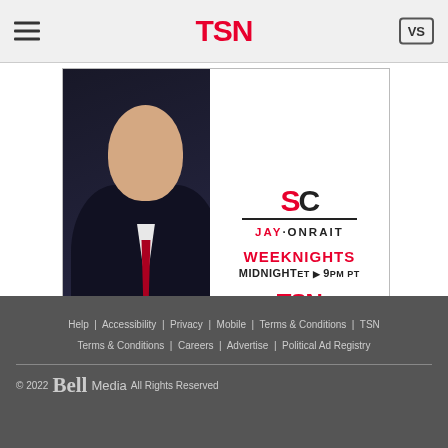TSN
[Figure (screenshot): TSN advertisement banner featuring Jay Onrait with text: JAY·ONRAIT, WEEKNIGHTS, MIDNIGHT ET ▶ 9PM PT, TSN logo]
Help | Accessibility | Privacy | Mobile | Terms & Conditions | TSN Terms & Conditions | Careers | Advertise | Political Ad Registry
© 2022 Bell Media All Rights Reserved